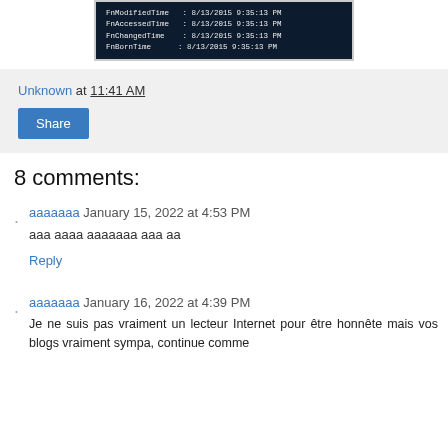[Figure (screenshot): Terminal/PowerShell screenshot showing file timestamps: FnModifiedTime, FnAccessedTime, FnChangedTime, FnBornTime all set to 8/13/2015 9:35:13 PM]
Unknown at 11:41 AM
Share
8 comments:
ааааааа January 15, 2022 at 4:53 PM
аaa аааа ааааааа ааа аа
Reply
ааааааа January 16, 2022 at 4:39 PM
Je ne suis pas vraiment un lecteur Internet pour être honnête mais vos blogs vraiment sympa, continue comme